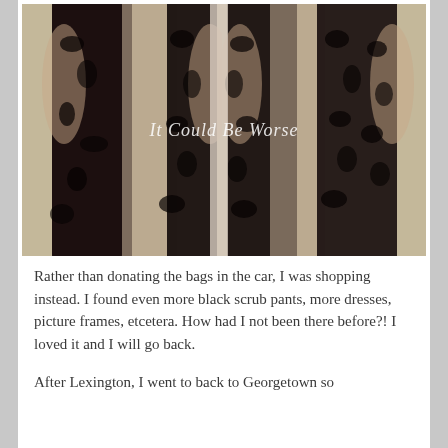[Figure (photo): A person wearing a black lace overlay dress/coat over a white or nude slip dress, photographed from chin to floor level. The image appears mirrored or shows two views side by side. A watermark reads 'It Could Be Worse' in white script text across the middle of the image.]
Rather than donating the bags in the car, I was shopping instead. I found even more black scrub pants, more dresses, picture frames, etcetera. How had I not been there before?! I loved it and I will go back.
After Lexington, I went to back to Georgetown so